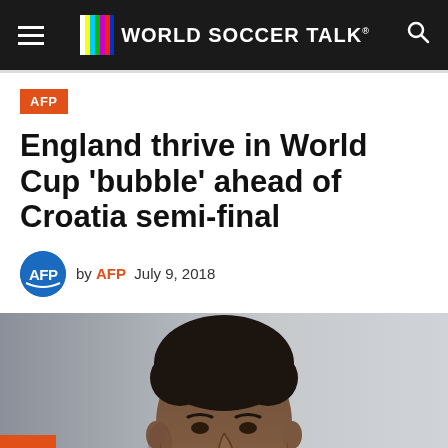WORLD SOCCER TALK
AFP
England thrive in World Cup 'bubble' ahead of Croatia semi-final
by AFP  July 9, 2018
[Figure (photo): Close-up photo of a young man with curly dark hair, looking to the side, in front of a grey background]